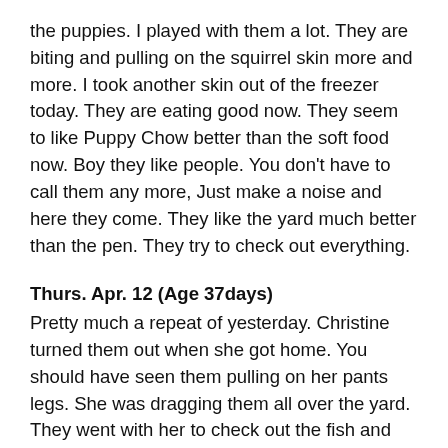the puppies. I played with them a lot. They are biting and pulling on the squirrel skin more and more. I took another skin out of the freezer today. They are eating good now. They seem to like Puppy Chow better than the soft food now. Boy they like people. You don't have to call them any more, Just make a noise and here they come. They like the yard much better than the pen. They try to check out everything.
Thurs. Apr. 12 (Age 37days)
Pretty much a repeat of yesterday. Christine turned them out when she got home. You should have seen them pulling on her pants legs. She was dragging them all over the yard. They went with her to check out the fish and flowers. Fed them two time today. They didn't eat much of it. They have a self feeder in the pen and they eat out of it most of the time. Still growing real